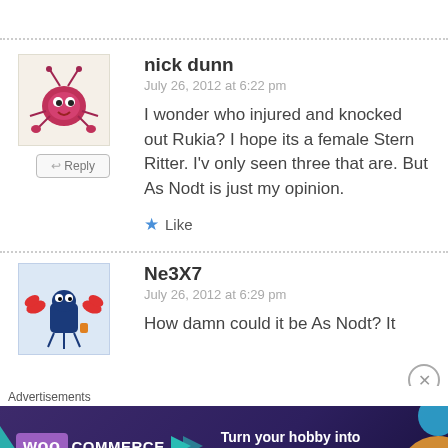nick dunn
July 26, 2012 at 6:22 pm
I wonder who injured and knocked out Rukia? I hope its a female Stern Ritter. I'v only seen three that are. But As Nodt is just my opinion.
Like
Ne3X7
July 26, 2012 at 6:29 pm
How damn could it be As Nodt? It
Advertisements
[Figure (infographic): WooCommerce advertisement banner: dark purple background with teal and orange shapes. WooCommerce logo on left with arrow graphic. Text: Turn your hobby into a business in 8 steps]